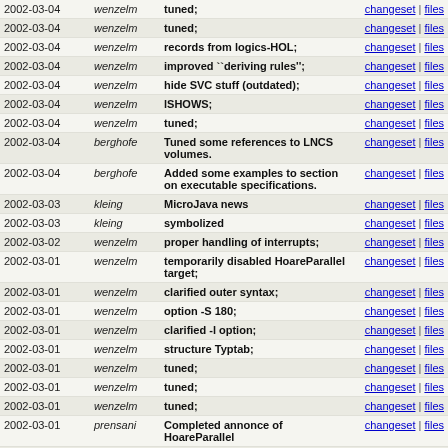| Date | Author | Description | Links |
| --- | --- | --- | --- |
| 2002-03-04 | wenzelm | tuned; | changeset | files |
| 2002-03-04 | wenzelm | tuned; | changeset | files |
| 2002-03-04 | wenzelm | records from logics-HOL; | changeset | files |
| 2002-03-04 | wenzelm | improved ``deriving rules"; | changeset | files |
| 2002-03-04 | wenzelm | hide SVC stuff (outdated); | changeset | files |
| 2002-03-04 | wenzelm | lSHOWS; | changeset | files |
| 2002-03-04 | wenzelm | tuned; | changeset | files |
| 2002-03-04 | berghofe | Tuned some references to LNCS volumes. | changeset | files |
| 2002-03-04 | berghofe | Added some examples to section on executable specifications. | changeset | files |
| 2002-03-03 | kleing | MicroJava news | changeset | files |
| 2002-03-03 | kleing | symbolized | changeset | files |
| 2002-03-02 | wenzelm | proper handling of interrupts; | changeset | files |
| 2002-03-01 | wenzelm | temporarily disabled HoareParallel target; | changeset | files |
| 2002-03-01 | wenzelm | clarified outer syntax; | changeset | files |
| 2002-03-01 | wenzelm | option -S 180; | changeset | files |
| 2002-03-01 | wenzelm | clarified -l option; | changeset | files |
| 2002-03-01 | wenzelm | structure Typtab; | changeset | files |
| 2002-03-01 | wenzelm | tuned; | changeset | files |
| 2002-03-01 | wenzelm | tuned; | changeset | files |
| 2002-03-01 | wenzelm | tuned; | changeset | files |
| 2002-03-01 | prensani | Completed annonce of HoareParallel | changeset | files |
| 2002-03-01 | wenzelm | tuned; | changeset | files |